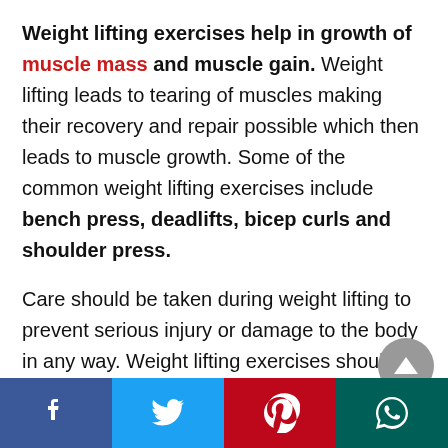Weight lifting exercises help in growth of muscle mass and muscle gain. Weight lifting leads to tearing of muscles making their recovery and repair possible which then leads to muscle growth. Some of the common weight lifting exercises include bench press, deadlifts, bicep curls and shoulder press.
Care should be taken during weight lifting to prevent serious injury or damage to the body in any way. Weight lifting exercises should be performed with care and there should be maintenance of good form while weight lifting.